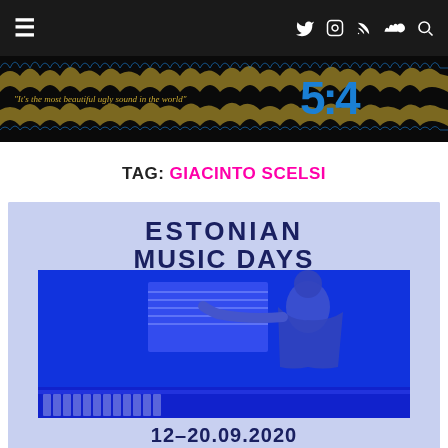≡  🐦 📷 ))) 🔊 🔍
[Figure (logo): 5:4 music blog banner with waveform design. Text reads: "It's the most beautiful ugly sound in the world" with large blue 5:4 logo, golden waveform graphics on dark background.]
TAG: GIACINTO SCELSI
[Figure (photo): Estonian Music Days promotional image. Dark blue tinted photo of a woman playing piano reading sheet music. Text overlay reads: ESTONIAN MUSIC DAYS 12–20.09.2020]